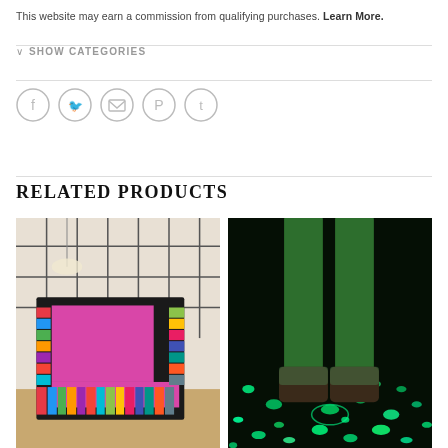This website may earn a commission from qualifying purchases. Learn More.
SHOW CATEGORIES
[Figure (infographic): Social share icons: Facebook, Twitter, Email, Pinterest, Tumblr — circular outlined icons in light gray]
RELATED PRODUCTS
[Figure (photo): A chair made entirely from stacked books with a pink/magenta interior cushion, against a Japanese shoji screen background]
[Figure (photo): Legs and feet standing on a dark floor covered with glowing teal/green bioluminescent particles or stones, green-lit environment]